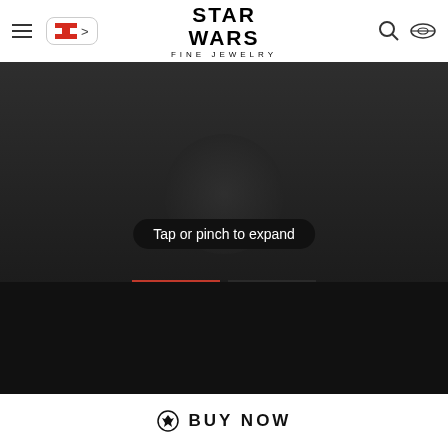[Figure (screenshot): Star Wars Fine Jewelry website header with hamburger menu, Canadian flag selector, Star Wars logo, search icon, and Millennium Falcon icon]
[Figure (photo): Dark hero image area showing a ring product with 'Tap or pinch to expand' overlay pill]
[Figure (photo): Two product thumbnail images of a women's ring with blue sapphire, one selected with red border]
Friendship
R2 SERIES WOMEN'S RING 1/6 CT.TW. White Diamonds, Blue Sapphire, Blue Onyx and Cremant Sterling Silv
BUY NOW